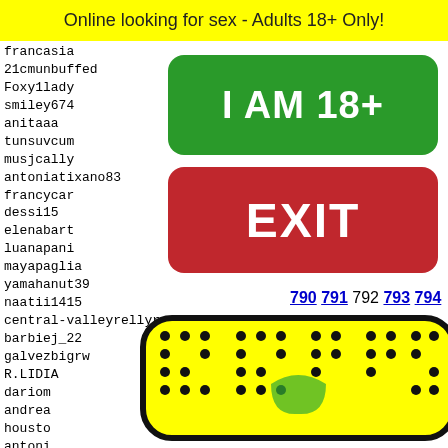Online looking for sex - Adults 18+ Only!
francasia
21cmunbuffed
Foxy1lady
smiley674
anitaaa
tunsuvcum
musjcally
antoniatixano83
francycar
dessi15
elenabart
luanapani
mayapaglia
yamahanut39
naatii1415
central-valleyrellyraps
barbiej_22
galvezbigrw
R.LIDIA
dariom
andrea
housto
antoni
kames0
lake-b
[Figure (screenshot): Green button with text 'I AM 18+']
[Figure (screenshot): Red button with text 'EXIT']
790 791 792 793 794
[Figure (illustration): Snapchat ghost logo on yellow background with black border and dot pattern]